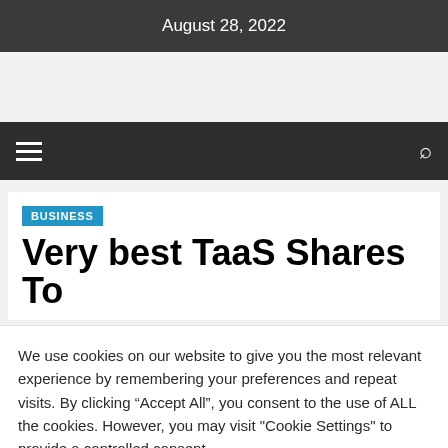August 28, 2022
BUSINESS
Very best TaaS Shares To
We use cookies on our website to give you the most relevant experience by remembering your preferences and repeat visits. By clicking “Accept All”, you consent to the use of ALL the cookies. However, you may visit "Cookie Settings" to provide a controlled consent.
Cookie Settings   Accept All